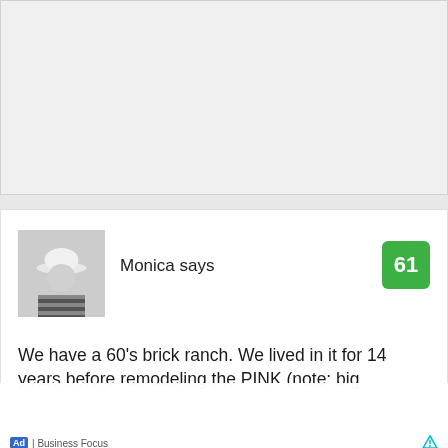[Figure (other): Grey placeholder box for advertisement]
[Figure (photo): Black and white photo of person wearing a striped shirt and white hat, looking down]
Monica says
61
We have a 60's brick ranch. We lived in it for 14 years before remodeling the PINK (note: big...
Search for
1.  2 PERSON HOT TUBS
2.  DEEP SOAKING TUBS
Ad | Business Focus